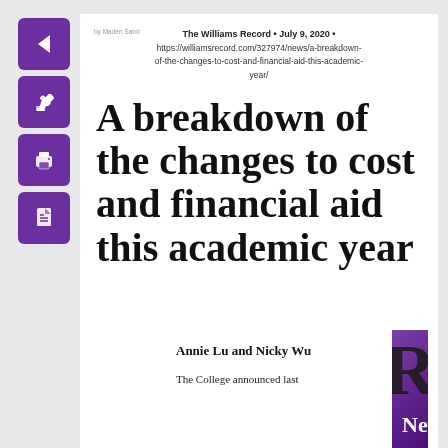[Figure (illustration): Purple sidebar with four navigation buttons: back arrow, edit/pencil, print, and PDF icons]
The Williams Record • July 9, 2020 • https://williamsrecord.com/327974/news/a-breakdown-of-the-changes-to-cost-and-financial-aid-this-academic-year/
A breakdown of the changes to cost and financial aid this academic year
Annie Lu and Nicky Wu
The College announced last
[Figure (logo): Purple square with large black letter R and white text 'News' below it — Williams Record News section logo]